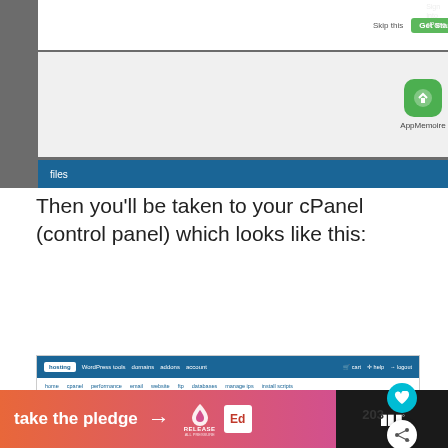[Figure (screenshot): Top portion of a web hosting control panel screenshot showing AppMemo app icon and a Files section bar]
Then you'll be taken to your cPanel (control panel) which looks like this:
[Figure (screenshot): cPanel (control panel) interface showing navigation bar with hosting, WordPress tools, domains, addons, account, cart, help, logout. Sub-navigation with home, cpanel, performance, email, website, ftp, databases, manage ips, install scripts. Left panel shows Gmail for your business ad. Right panel shows helpful resources (Getting Started, Help Center, Change Passwords, Update Billing Info, Renew Account, Change Settings), tabs row (marketing, email, website, files, domains, security, database, serv...), marketing section with SoloSEO, Constant Contact, Google AdWords $100, Bing Yahoo $100, WooThemes $50. Heart button showing 203 count and share button visible.]
[Figure (screenshot): Bottom banner: take the pledge with arrow, Release logo, Ed logo on orange-to-pink gradient. Right side dark panel with MW logo.]